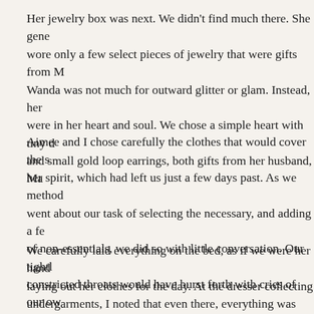Her jewelry box was next. We didn't find much there. She gene wore only a few select pieces of jewelry that were gifts from M Wanda was not much for outward glitter or glam. Instead, her were in her heart and soul. We chose a simple heart with tiny d and small gold loop earrings, both gifts from her husband, Ma
Aimee and I chose carefully the clothes that would cover the s her spirit, which had left us just a few days past. As we method went about our task of selecting the necessary, and adding a fe of non-essentials, we did so with little conversation. Our tightl constricted throats would have burst forth with cries of our ow if we had allowed the emotions to unravel. Struggling to hold tears that burned behind our eyes and pressed to be unleashed evening, we gathered her purple around us.
We carefully laid everything on the bed, as if we were her hand laying out her clothes for the day. At the dresser collecting undergarments, I noted that even there, everything was folded such a neat precision. I wondered if she kept her drawers so